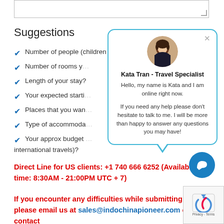[Figure (screenshot): Text input textarea with resize handle]
Suggestions
Number of people (children if any)?
Number of rooms you need?
Length of your stay?
Your expected starting date?
Places that you want to visit?
Type of accommodation: resorts/hotels?
Your approx budget (including international travels)?
[Figure (screenshot): Chat popup with Kata Tran - Travel Specialist avatar and greeting message]
Direct Line for US clients: +1 740 666 6252 (Available time: 8:30AM - 21:00PM UTC + 7)
If you encounter any difficulties while submitting this form, please email us at sales@indochinapioneer.com or contact